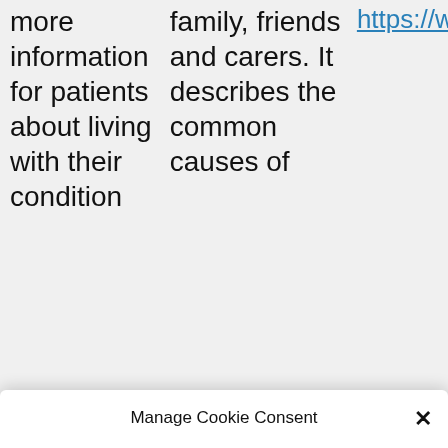more information for patients about living with their condition
family, friends and carers. It describes the common causes of
https://www.blf.or
Manage Cookie Consent
To make our website work efficiently and to provide our website visitors with a good experience when using the website, we use cookies. Cookies are small data files that are placed on your computer
Accept
Deny
View preferences